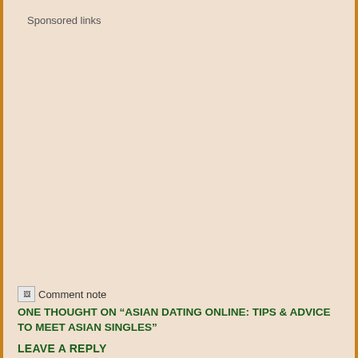Sponsored links
[Figure (other): Comment note icon image (broken/placeholder)]
ONE THOUGHT ON “ASIAN DATING ONLINE: TIPS & ADVICE TO MEET ASIAN SINGLES”
LEAVE A REPLY